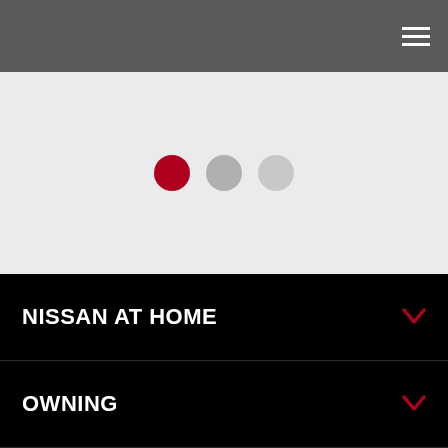Navigation header bar with hamburger menu icon
[Figure (illustration): Carousel indicator dots: one red (active) and two gray (inactive) dots on a light gray background]
NISSAN AT HOME
OWNING
ABOUT
BUSINESS & FLEET
SOCIAL